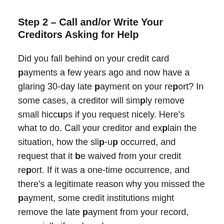Step 2 – Call and/or Write Your Creditors Asking for Help
Did you fall behind on your credit card payments a few years ago and now have a glaring 30-day late payment on your report? In some cases, a creditor will simply remove small hiccups if you request nicely. Here's what to do. Call your creditor and explain the situation, how the slip-up occurred, and request that it be waived from your credit report. If it was a one-time occurrence, and there's a legitimate reason why you missed the payment, some credit institutions might remove the late payment from your record, especially if you're a long-